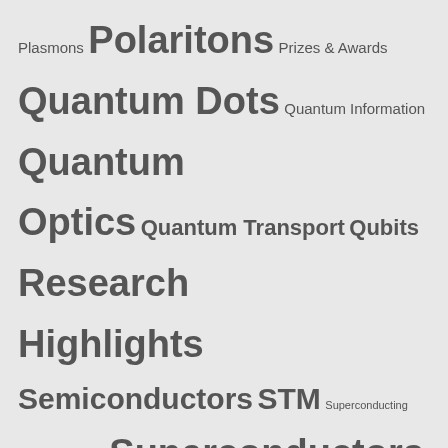Plasmons Polaritons Prizes & Awards Quantum Dots Quantum Information Quantum Optics Quantum Transport Qubits Research Highlights Semiconductors STM Superconducting Superconductivity Superconductors Superfluids Thesis Defense Topological Materials Trainings & Courses
LATEST NEWS & EVENTS
Signatures of Interactions in the Andreev Spectrum of Nanowire Josephson Junctions
Blas Cabrera Award 2021 Ceremony
Three PhD Positions on Theory and Modeling at Nanoscale